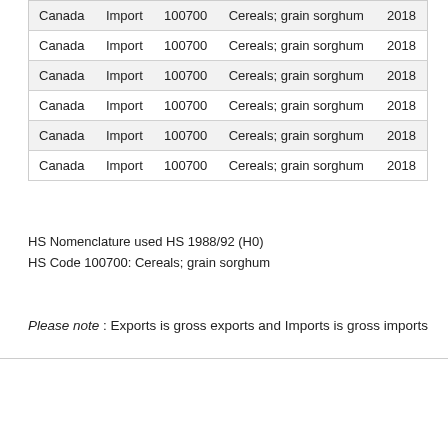| Canada | Import | 100700 | Cereals; grain sorghum | 2018 |
| Canada | Import | 100700 | Cereals; grain sorghum | 2018 |
| Canada | Import | 100700 | Cereals; grain sorghum | 2018 |
| Canada | Import | 100700 | Cereals; grain sorghum | 2018 |
| Canada | Import | 100700 | Cereals; grain sorghum | 2018 |
| Canada | Import | 100700 | Cereals; grain sorghum | 2018 |
HS Nomenclature used HS 1988/92 (H0)
HS Code 100700: Cereals; grain sorghum
Please note : Exports is gross exports and Imports is gross imports
About   Contact   Usage Conditions   Legal   Data Providers
Page Refreshed : Sep-1-2022 01:05 ET
Partners [logos]